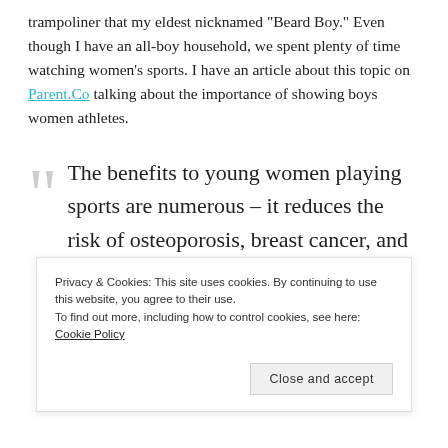trampoliner that my eldest nicknamed “Beard Boy.” Even though I have an all-boy household, we spent plenty of time watching women’s sports. I have an article about this topic on Parent.Co talking about the importance of showing boys women athletes.
“The benefits to young women playing sports are numerous – it reduces the risk of osteoporosis, breast cancer, and depression. But I believe there are benefits to my sons as well, in seeing
Privacy & Cookies: This site uses cookies. By continuing to use this website, you agree to their use. To find out more, including how to control cookies, see here: Cookie Policy